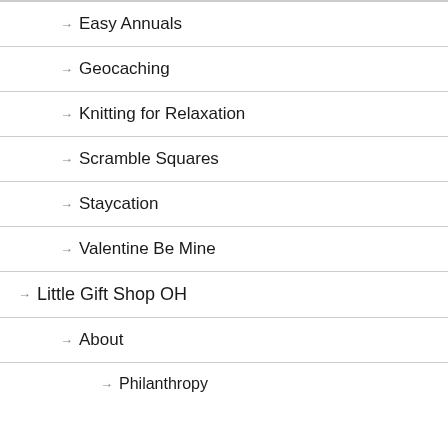Easy Annuals
Geocaching
Knitting for Relaxation
Scramble Squares
Staycation
Valentine Be Mine
Little Gift Shop OH
About
Philanthropy